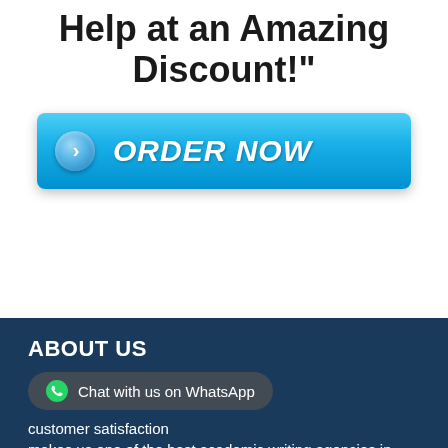Help at an Amazing Discount!"
[Figure (other): Blue ORDER NOW button with right-arrow circle icon]
ABOUT US
[Figure (other): WhatsApp chat button overlay]
customer satisfaction makes us one of the best academic writing agencies in